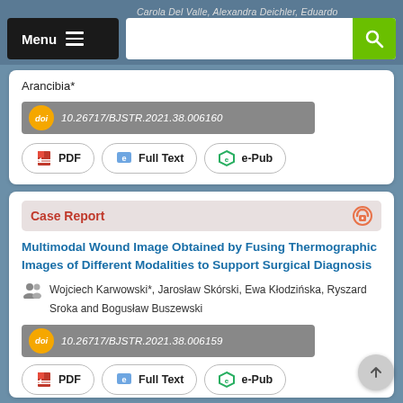Menu [hamburger] [search bar]
Arancibia*
doi 10.26717/BJSTR.2021.38.006160
PDF | Full Text | e-Pub
Case Report
Multimodal Wound Image Obtained by Fusing Thermographic Images of Different Modalities to Support Surgical Diagnosis
Wojciech Karwowski*, Jarosław Skórski, Ewa Kłodzińska, Ryszard Sroka and Bogusław Buszewski
doi 10.26717/BJSTR.2021.38.006159
PDF | Full Text | e-Pub